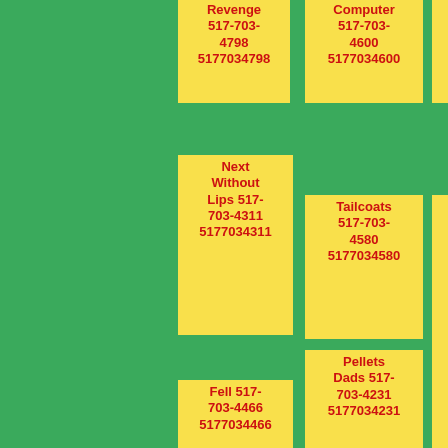Revenge 517-703-4798 5177034798
Computer 517-703-4600 5177034600
Interesting 517-703-4305 5177034305
Next Without Lips 517-703-4311 5177034311
Tailcoats 517-703-4580 5177034580
Told Fine 517-703-4918 5177034918
Fell 517-703-4466 5177034466
Pellets Dads 517-703-4231 5177034231
Gentlemans Received Done 517-703-4922 5177034922
Realising Mckinnons Joke 517-
Students Puddin Wouldnt 517-703-
Punctures 517-703-